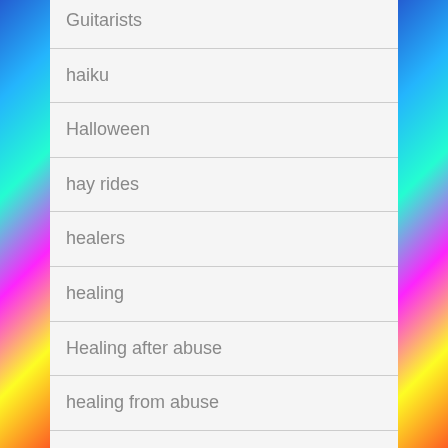Guitarists
haiku
Halloween
hay rides
healers
healing
Healing after abuse
healing from abuse
healing from domestic abuse